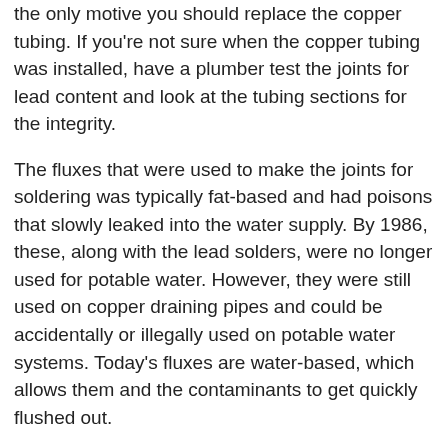the only motive you should replace the copper tubing. If you're not sure when the copper tubing was installed, have a plumber test the joints for lead content and look at the tubing sections for the integrity.
The fluxes that were used to make the joints for soldering was typically fat-based and had poisons that slowly leaked into the water supply. By 1986, these, along with the lead solders, were no longer used for potable water. However, they were still used on copper draining pipes and could be accidentally or illegally used on potable water systems. Today's fluxes are water-based, which allows them and the contaminants to get quickly flushed out.